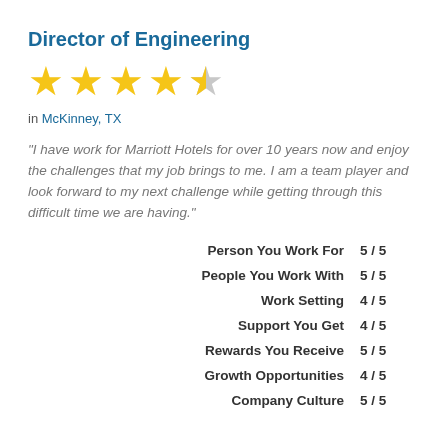Director of Engineering
[Figure (other): 4.5 out of 5 stars rating shown as 4 full gold stars and 1 half-filled star]
in McKinney, TX
"I have work for Marriott Hotels for over 10 years now and enjoy the challenges that my job brings to me. I am a team player and look forward to my next challenge while getting through this difficult time we are having."
| Category | Score |
| --- | --- |
| Person You Work For | 5 / 5 |
| People You Work With | 5 / 5 |
| Work Setting | 4 / 5 |
| Support You Get | 4 / 5 |
| Rewards You Receive | 5 / 5 |
| Growth Opportunities | 4 / 5 |
| Company Culture | 5 / 5 |